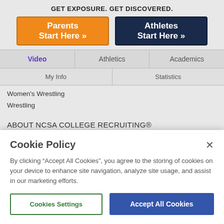GET EXPOSURE. GET DISCOVERED.
Parents Start Here »
Athletes Start Here »
| Video | Athletics | Academics |
| --- | --- | --- |
| My Info |  | Statistics |
Women's Wrestling
Wrestling
ABOUT NCSA COLLEGE RECRUITING®
NCSA College Recruiting® (NCSA) is the nation's leading athletic recruiting network...
Cookie Policy
By clicking "Accept All Cookies", you agree to the storing of cookies on your device to enhance site navigation, analyze site usage, and assist in our marketing efforts.
Cookies Settings
Accept All Cookies